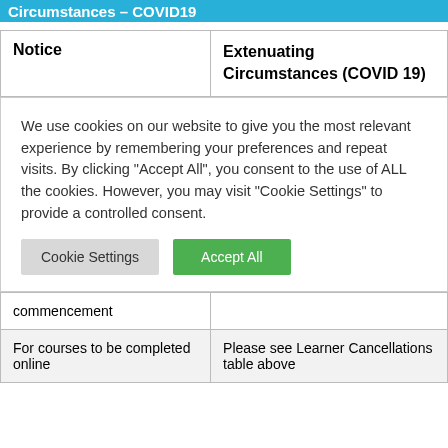Circumstances – COVID19
| Notice | Extenuating Circumstances (COVID 19) |
| --- | --- |
We use cookies on our website to give you the most relevant experience by remembering your preferences and repeat visits. By clicking "Accept All", you consent to the use of ALL the cookies. However, you may visit "Cookie Settings" to provide a controlled consent.
| commencement |  |
| For courses to be completed online | Please see Learner Cancellations table above |